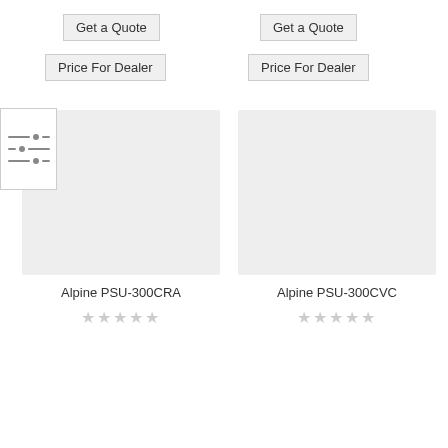[Figure (screenshot): Get a Quote button (left column)]
[Figure (screenshot): Price For Dealer button (left column)]
[Figure (screenshot): Get a Quote button (right column)]
[Figure (screenshot): Price For Dealer button (right column)]
[Figure (other): Filter/sliders icon button]
[Figure (photo): Product image placeholder (left) - Alpine PSU-300CRA]
[Figure (photo): Product image placeholder (right) - Alpine PSU-300CVC]
Alpine PSU-300CRA
★★★★★
Alpine PSU-300CVC
★★★★★